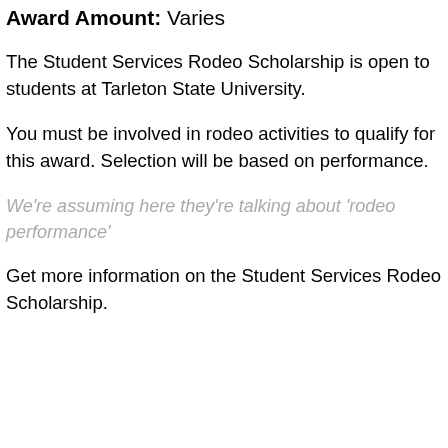Award Amount: Varies
The Student Services Rodeo Scholarship is open to students at Tarleton State University.
You must be involved in rodeo activities to qualify for this award. Selection will be based on performance.
We're assuming here they're talking about 'rodeo performance'
Get more information on the Student Services Rodeo Scholarship.